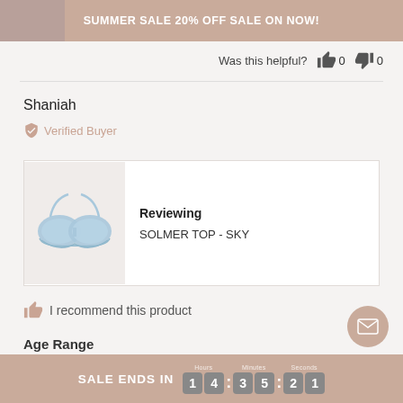SUMMER SALE 20% OFF SALE ON NOW!
Was this helpful? 👍 0 👎 0
Shaniah
✔ Verified Buyer
[Figure (photo): Light blue underwire bra top - SOLMER TOP SKY product photo]
Reviewing
SOLMER TOP - SKY
👍 I recommend this product
Age Range
SALE ENDS IN 1 4 : 3 5 : 2 1